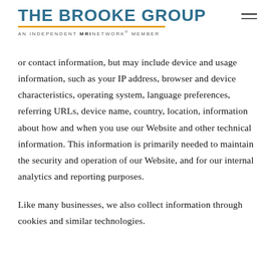THE BROOKE GROUP — AN INDEPENDENT MRINETWORK® MEMBER
or contact information, but may include device and usage information, such as your IP address, browser and device characteristics, operating system, language preferences, referring URLs, device name, country, location, information about how and when you use our Website and other technical information. This information is primarily needed to maintain the security and operation of our Website, and for our internal analytics and reporting purposes.
Like many businesses, we also collect information through cookies and similar technologies.